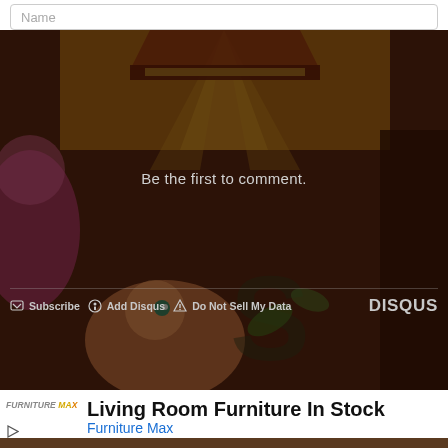[Figure (screenshot): Input bar at top with placeholder text 'Name']
[Figure (illustration): Dark-overlaid cartoon/animated background showing colorful characters in a whimsical setting]
Be the first to comment.
Subscribe  Add Disqus  Do Not Sell My Data   DISQUS
[Figure (logo): Furniture Max logo with stylized text]
Living Room Furniture In Stock
Furniture Max